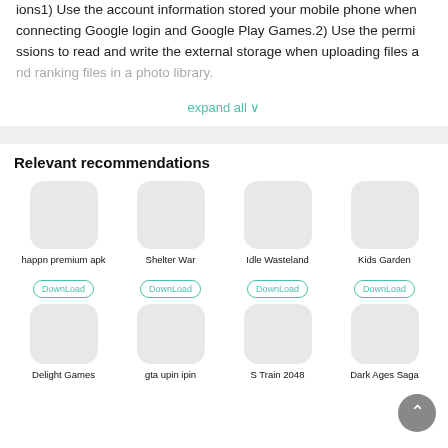ions1) Use the account information stored your mobile phone when connecting Google login and Google Play Games.2) Use the permissions to read and write the external storage when uploading files and ranking files in a photo library.
expand all ∨
Relevant recommendations
[Figure (screenshot): App recommendation grid showing: happn premium apk, Shelter War, Idle Wasteland, Kids Garden (row 1 with Download buttons); Delight Games, gta upin ipin, S Train 2048, Dark Ages Saga (row 2 partial)]